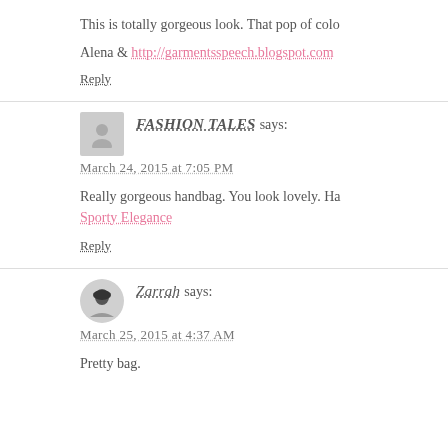This is totally gorgeous look. That pop of colo
Alena & http://garmentsspeech.blogspot.com
Reply
FASHION TALES says:
March 24, 2015 at 7:05 PM
Really gorgeous handbag. You look lovely. Ha
Sporty Elegance
Reply
Zarrah says:
March 25, 2015 at 4:37 AM
Pretty bag.